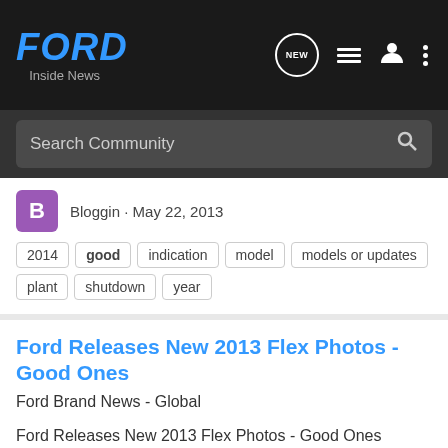FORD Inside News
Search Community
Bloggin · May 22, 2013
2014  good  indication  model  models or updates  plant  shutdown  year
Ford Releases New 2013 Flex Photos - Good Ones
Ford Brand News - Global
Ford Releases New 2013 Flex Photos - Good Ones www.FordInsideNews.com March 12, 2012
15  7K
nsap · Mar 12, 2012
flex  good  photos  releases